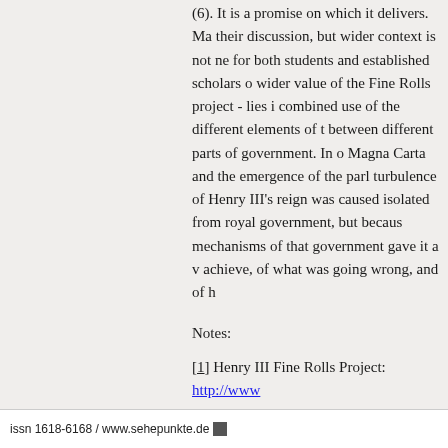(6). It is a promise on which it delivers. Ma their discussion, but wider context is not ne for both students and established scholars o wider value of the Fine Rolls project - lies i combined use of the different elements of t between different parts of government. In o Magna Carta and the emergence of the parl turbulence of Henry III's reign was caused isolated from royal government, but becaus mechanisms of that government gave it a v achieve, of what was going wrong, and of h
Notes:
[1] Henry III Fine Rolls Project: http://www
[2] This should be read alongside an editionWild, 'A Gift Inventory from the Reign of H529-69.
issn 1618-6168 / www.sehepunkte.de